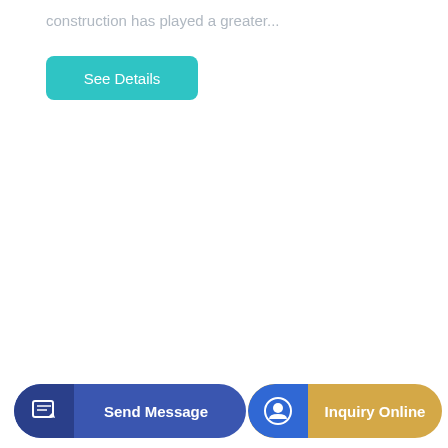construction has played a greater...
[Figure (other): Teal/cyan rounded rectangle button labeled 'See Details']
[Figure (other): Blue rounded button with dark blue icon area on left showing a pencil/edit icon, and text 'Send Message' on right]
[Figure (other): Gold/yellow rounded button with blue circle icon area on left showing a headset/support icon, and text 'Inquiry Online' on right]